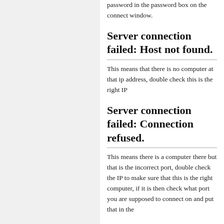password in the password box on the connect window.
Server connection failed: Host not found.
This means that there is no computer at that ip address, double check this is the right IP
Server connection failed: Connection refused.
This means there is a computer there but that is the incorrect port, double check the IP to make sure that this is the right computer, if it is then check what port you are supposed to connect on and put that in the